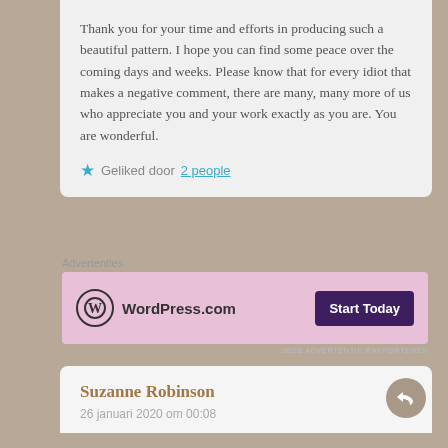Thank you for your time and efforts in producing such a beautiful pattern. I hope you can find some peace over the coming days and weeks. Please know that for every idiot that makes a negative comment, there are many, many more of us who appreciate you and your work exactly as you are. You are wonderful.
★ Geliked door 2 people
Advertenties
[Figure (screenshot): WordPress.com advertisement banner with pink background, WordPress logo, and 'Start Today' dark purple button]
DEZE ADVERTENTIE RAPPORTEREN
Suzanne Robinson
26 januari 2020 om 00:08
Advertenties
[Figure (screenshot): ULTA Beauty advertisement banner with makeup imagery and 'SHOP NOW' button]
DEZE ADVERTENTIE RAPPORTEREN